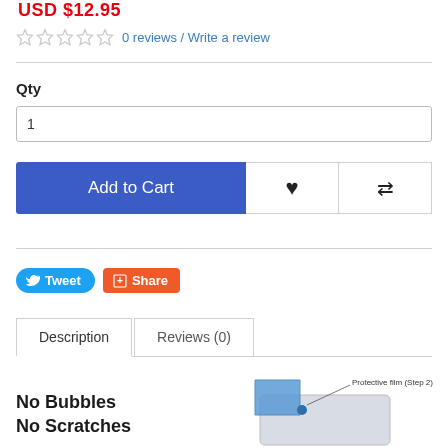USD $12.95
0 reviews / Write a review
Qty
1
Add to Cart
Tweet
Share
Description
Reviews (0)
No Bubbles
No Scratches
[Figure (illustration): Product illustration showing a screen protector with 'Protective film (Step 2)' label and a blue dot indicator over a device screen]